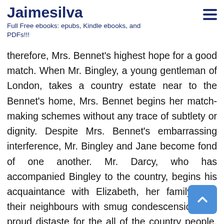Jaimesilva
Full Free ebooks: epubs, Kindle ebooks, and PDFs!!!
therefore, Mrs. Bennet's highest hope for a good match. When Mr. Bingley, a young gentleman of London, takes a country estate near to the Bennet's home, Mrs. Bennet begins her match-making schemes without any trace of subtlety or dignity. Despite Mrs. Bennet's embarrassing interference, Mr. Bingley and Jane become fond of one another. Mr. Darcy, who has accompanied Bingley to the country, begins his acquaintance with Elizabeth, her family, and their neighbours with smug condescension and proud distaste for the all of the country people. Elizabeth, learning of his dislike, makes it a point to match his disgust with her own venom. She also hears from a soldier, that she has a fondness for, that Darcy has